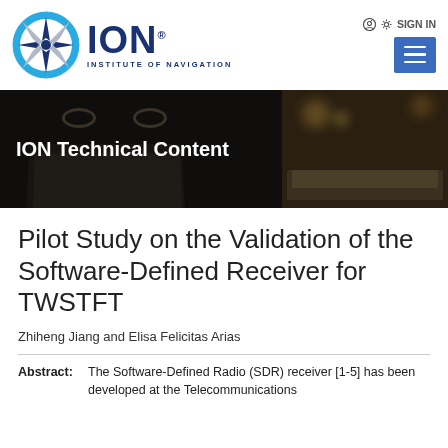[Figure (logo): ION Institute of Navigation logo: blue compass rose circle with star, dark blue ION text and INSTITUTE OF NAVIGATION subtitle]
SIGN IN  ☰
[Figure (photo): Banner image with dark overlay showing an open book with glasses on the left, and blurred books/desk on the right, with text 'ION Technical Content']
Pilot Study on the Validation of the Software-Defined Receiver for TWSTFT
Zhiheng Jiang and Elisa Felicitas Arias
Abstract:  The Software-Defined Radio (SDR) receiver [1-5] has been developed at the Telecommunications